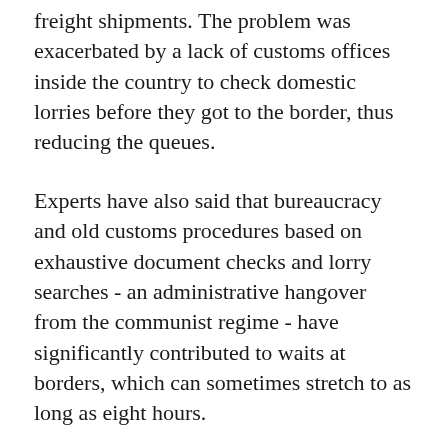freight shipments. The problem was exacerbated by a lack of customs offices inside the country to check domestic lorries before they got to the border, thus reducing the queues.
Experts have also said that bureaucracy and old customs procedures based on exhaustive document checks and lorry searches - an administrative hangover from the communist regime - have significantly contributed to waits at borders, which can sometimes stretch to as long as eight hours.
However, the Customs Directorate says that pressure from the European Union has ushered in the changes. Silvia Balásziková, spokesperson for the directorate, said that the new legislation will follow similar customs laws valid in EU member states.